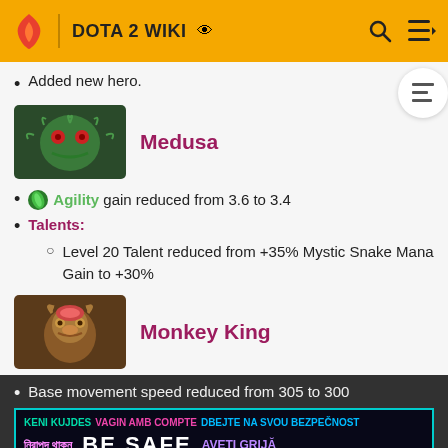DOTA 2 WIKI
Added new hero.
[Figure (illustration): Medusa hero portrait from Dota 2, showing a green snake-like creature with red eyes]
Medusa
Agility gain reduced from 3.6 to 3.4
Talents:
Level 20 Talent reduced from +35% Mystic Snake Mana Gain to +30%
[Figure (illustration): Monkey King hero portrait from Dota 2]
Monkey King
Base movement speed reduced from 305 to 300
[Figure (infographic): BE SAFE multilingual safety banner with cyan border on dark background]
30/19/16/14